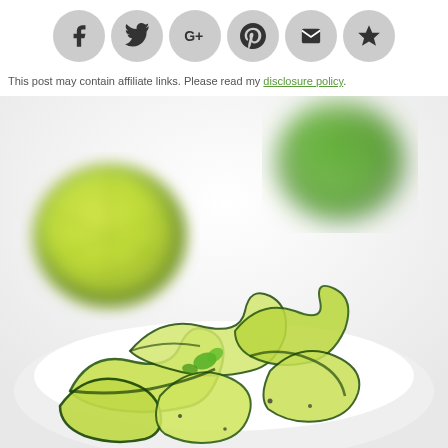[Figure (infographic): Social sharing bar with circular icons: Facebook (f), Twitter (bird), Google+ (G+), Pinterest (P), Email (envelope), Crown/Feedly icon]
This post may contain affiliate links. Please read my disclosure policy.
[Figure (photo): A white bowl filled with thin ribbons of spiralized or peeled cucumber salad with cilantro and black pepper, with a halved lime and fresh cilantro in the blurred background on a white surface.]